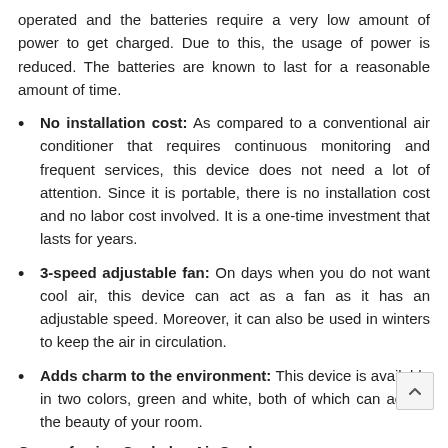operated and the batteries require a very low amount of power to get charged. Due to this, the usage of power is reduced. The batteries are known to last for a reasonable amount of time.
No installation cost: As compared to a conventional air conditioner that requires continuous monitoring and frequent services, this device does not need a lot of attention. Since it is portable, there is no installation cost and no labor cost involved. It is a one-time investment that lasts for years.
3-speed adjustable fan: On days when you do not want cool air, this device can act as a fan as it has an adjustable speed. Moreover, it can also be used in winters to keep the air in circulation.
Adds charm to the environment: This device is available in two colors, green and white, both of which can add to the beauty of your room.
Cons of using Cooledge Air Cooler: